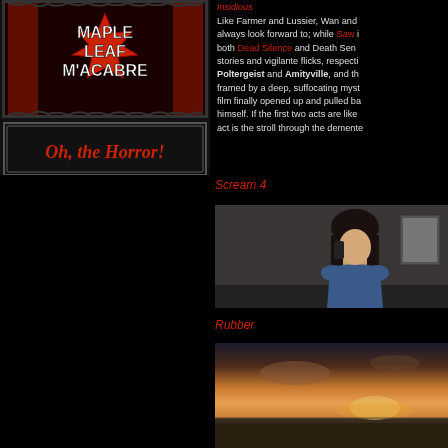[Figure (logo): Maple Leaf Macabre horror blog logo with Canadian maple leaf graphic and 'Oh, the Horror!' banner]
Like Farmer and Lussier, Wan and always look forward to; while Saw is both Dead Silence and Death Sen stories and vigilante flicks, respecti Poltergeist and Amityville, and th framed by a deep, suffocating myst film finally opened up and pulled ba himself. If the first two acts are like act is the stroll through the demente
Scream 4
[Figure (photo): Still from Scream 4 showing a woman with dark hair talking on a phone, wearing a blue jacket]
Rubber
[Figure (photo): Still from Rubber showing a landscape with dramatic sunset sky]